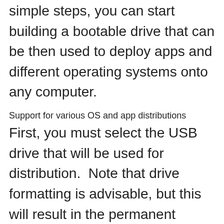simple steps, you can start building a bootable drive that can be then used to deploy apps and different operating systems onto any computer.
Support for various OS and app distributions
First, you must select the USB drive that will be used for distribution.  Note that drive formatting is advisable, but this will result in the permanent deletion of all the data on the USB stick, so be careful not to lose important data.